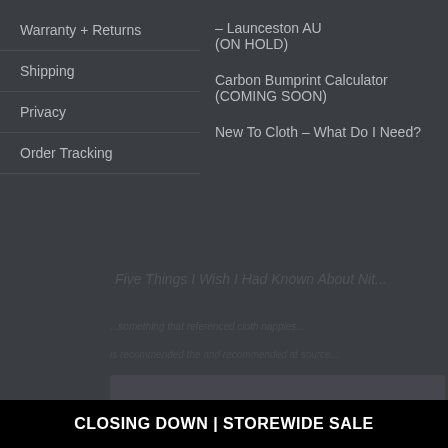Warranty + Returns
Shipping
Privacy
Order Tracking
– Launceston AU (ON HOLD)
Carbon Bumprint Calculator (COMING SOON)
New To Cloth – What Do I Need?
© Copyright 2022 | RAWr Nappies | Website developed by Hatched Designs
CLOSING DOWN | STOREWIDE SALE